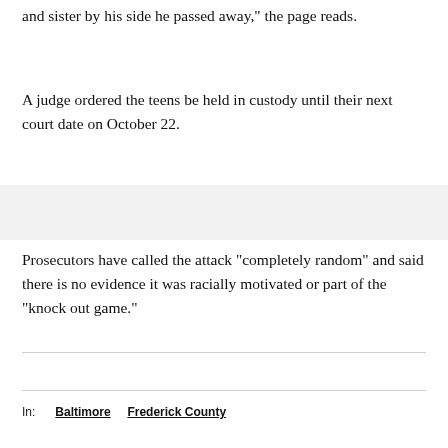and sister by his side he passed away," the page reads.
A judge ordered the teens be held in custody until their next court date on October 22.
Prosecutors have called the attack "completely random" and said there is no evidence it was racially motivated or part of the "knock out game."
In:   Baltimore   Frederick County